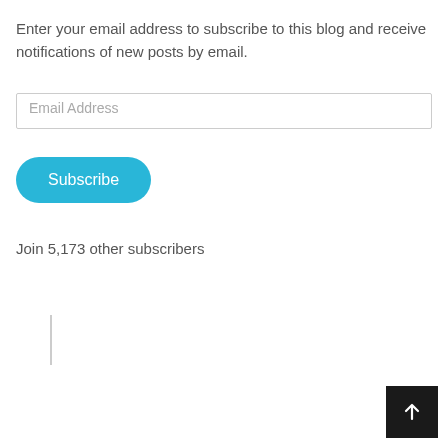Enter your email address to subscribe to this blog and receive notifications of new posts by email.
Email Address
Subscribe
Join 5,173 other subscribers